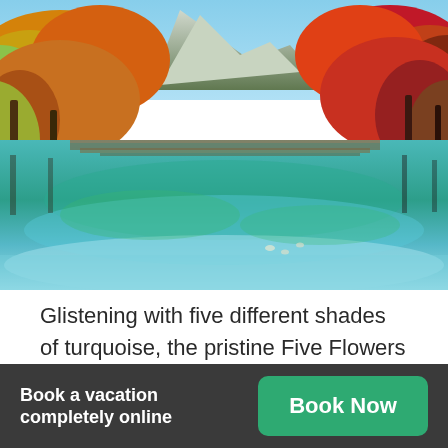[Figure (photo): Scenic view of Five Flowers Lake in Jiuzhaigou natural reserve, showing turquoise-coloured reflective water surrounded by autumn-coloured trees (red, orange, yellow, green) and mountains in the background.]
Glistening with five different shades of turquoise, the pristine Five Flowers Lake set inside the unspoiled natural reserve of Jiuzhaigou is a fairytale destination. A closer look into the multi-coloured lake
Book a vacation completely online
Book Now